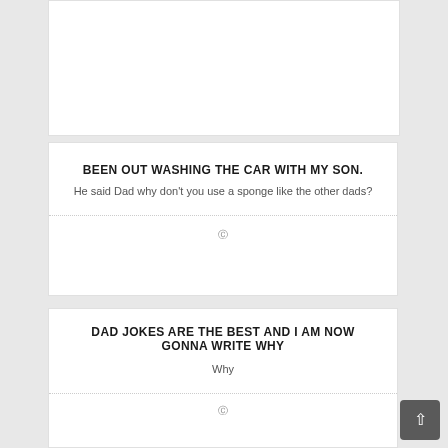BEEN OUT WASHING THE CAR WITH MY SON.
He said Dad why don't you use a sponge like the other dads?
DAD JOKES ARE THE BEST AND I AM NOW GONNA WRITE WHY
Why